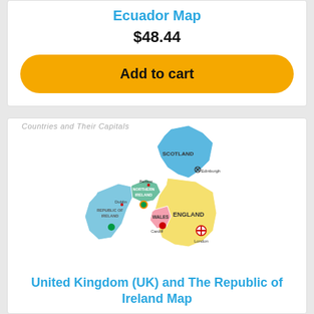Ecuador Map
$48.44
Add to cart
Countries and Their Capitals
[Figure (map): Map of United Kingdom and Republic of Ireland showing Scotland, Northern Ireland, England, Wales, Republic of Ireland with capitals: Edinburgh, Belfast, Cardiff, London, Dublin]
United Kingdom (UK) and The Republic of Ireland Map
$36.44
Add to cart